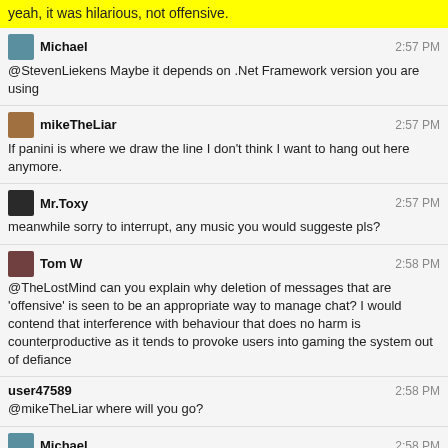yeah, it was hilarious, not offensive.
Michael  2:57 PM
@StevenLiekens Maybe it depends on .Net Framework version you are using
mikeTheLiar  2:57 PM
If panini is where we draw the line I don't think I want to hang out here anymore.
Mr.Toxy  2:57 PM
meanwhile sorry to interrupt, any music you would suggeste pls?
Tom W  2:58 PM
@TheLostMind can you explain why deletion of messages that are 'offensive' is seen to be an appropriate way to manage chat? I would contend that interference with behaviour that does no harm is counterproductive as it tends to provoke users into gaming the system out of defiance
user47589  2:58 PM
@mikeTheLiar where will you go?
Michael  2:58 PM
@StevenLiekens hmm.. because all my templates are at asp.net 4ish
Sippy  2:58 PM
What failsafe said was vulgar, but also wouldn't warrant deletion. Like I say, if you wanna personally filter our channel, it's gonna be a full time job
Failsafe  2:58 PM
What I said is the truth.